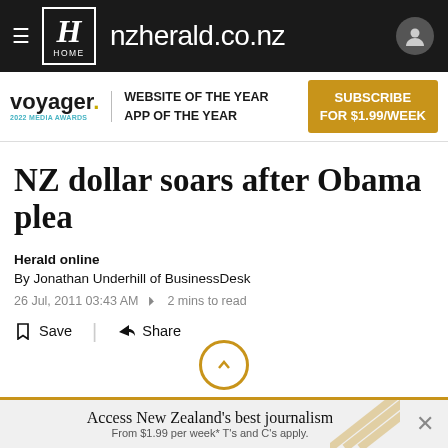nzherald.co.nz
[Figure (infographic): Voyager 2022 Media Awards banner: WEBSITE OF THE YEAR, APP OF THE YEAR, with SUBSCRIBE FOR $1.99/WEEK button]
NZ dollar soars after Obama plea
Herald online
By Jonathan Underhill of BusinessDesk
26 Jul, 2011 03:43 AM  2 mins to read
Save  Share
Access New Zealand's best journalism
From $1.99 per week* T's and C's apply.